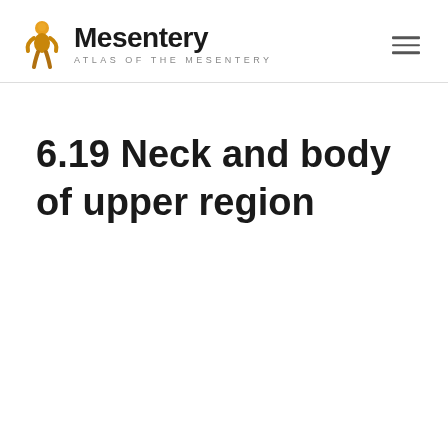Mesentery — ATLAS OF THE MESENTERY
6.19 Neck and body of upper region